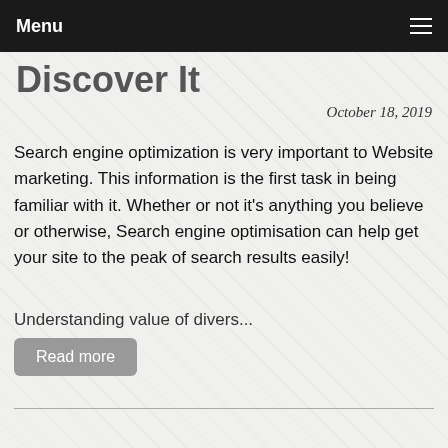Menu
Discover It
October 18, 2019
Search engine optimization is very important to Website marketing. This information is the first task in being familiar with it. Whether or not it's anything you believe or otherwise, Search engine optimisation can help get your site to the peak of search results easily!
Understanding value of divers...
Read more
0 comments  Posted in General  Tags link with more details